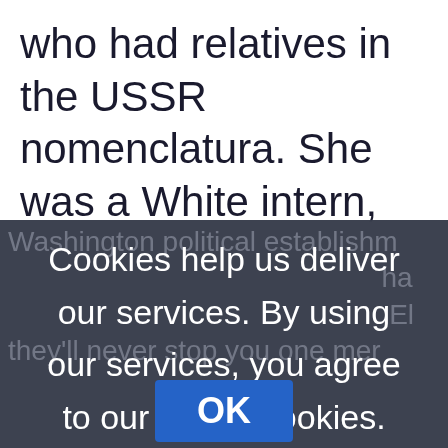who had relatives in the USSR nomenclatura. She was a White intern, and most likely married in
Cookies help us deliver our services. By using our services, you agree to our use of cookies. Learn more
OK